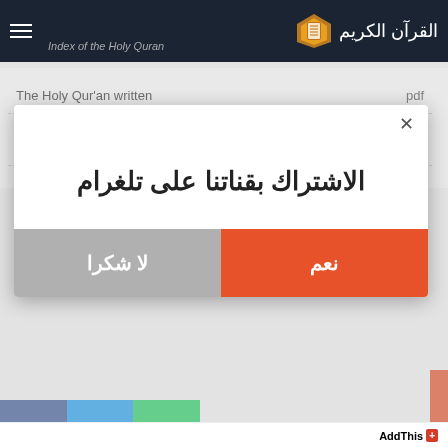Index of the Holy Quran | القرآن الكريم
The Holy Qur'an written    pdf
surah Al-Baqarah written    reading
Surat Al-Aqla... written    reading
[Figure (screenshot): Modal dialog with Arabic text 'الاشتراك بقناتنا على تلغرام' (Subscribe to our Telegram channel), with two buttons: 'نعم' (Yes) in orange-red and 'لا شكرا' (No thanks) in grey. Close X button in top right.]
AddThis